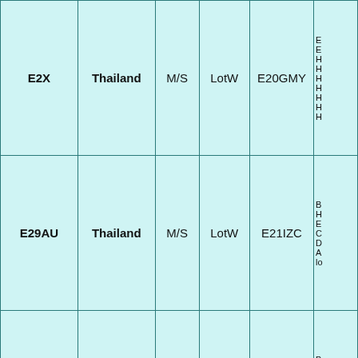| Callsign | Country | Mode | Award | Prefix | Notes |
| --- | --- | --- | --- | --- | --- |
| E2X | Thailand | M/S | LotW | E20GMY | E
E
H
H
H
H
H
H
H |
| E29AU | Thailand | M/S | LotW | E21IZC | B
H
E
C
D
A
lo |
| E28AI | Thailand | SOSB 20M | LotW | E21IZC | B
R
S
C
A
R
h |
|  | Thailand | SOAB |  |  | B |